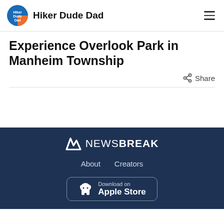Hiker Dude Dad
Experience Overlook Park in Manheim Township
Share
[Figure (logo): NewsBreak logo with stylized N icon and NEWSBREAK text in white on dark blue background]
About   Creators
Download on Apple Store